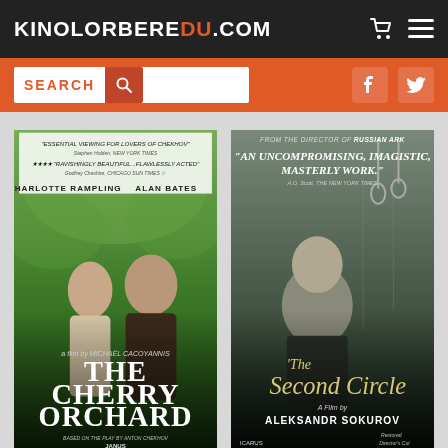KINOLORBEREDU.COM
[Figure (screenshot): Website screenshot of KinoLorberEdu.com showing a dark header with the site logo, an orange search bar with social media icons, and two film poster thumbnails below: 'The Cherry Orchard' (featuring Charlotte Rampling and Alan Bates, directed by Michael Cacoyannis) and 'The Second Circle' (A Film by Aleksandr Sokurov, from the director of Russian Ark).]